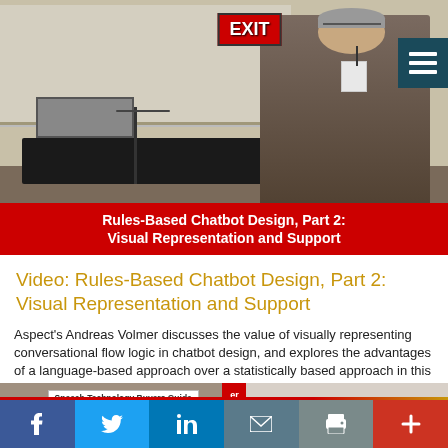[Figure (photo): Lecture hall scene with a male speaker standing near a podium. An EXIT sign is visible in the background. A laptop is on the table. Red title bar overlay at bottom reads: Rules-Based Chatbot Design, Part 2: Visual Representation and Support]
Video: Rules-Based Chatbot Design, Part 2: Visual Representation and Support
Aspect’s Andreas Volmer discusses the value of visually representing conversational flow logic in chatbot design, and explores the advantages of a language-based approach over a statistically based approach in this clip from SpeechTEK 2018.
[Figure (infographic): Advertisement banner: Speech Technology Buyers Guide on left side with a person holding a phone; right side text: Streamline organizational processes.]
f • t • in • ✉ • 🖨 • +  (Social share and navigation bar at bottom)